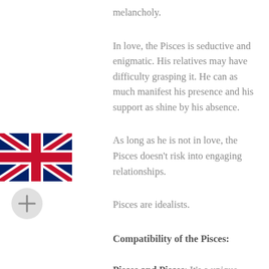melancholy.
In love, the Pisces is seductive and enigmatic. His relatives may have difficulty grasping it. He can as much manifest his presence and his support as shine by his absence.
[Figure (illustration): UK flag (Union Jack) icon]
[Figure (other): Circle button with plus sign]
As long as he is not in love, the Pisces doesn't risk into engaging relationships.
Pisces are idealists.
Compatibility of the Pisces:
Pisces and Pisces: It's a unique